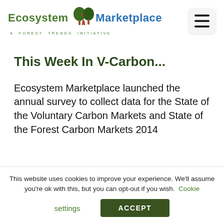[Figure (logo): Ecosystem Marketplace logo with tree icon, green and blue text, and tagline 'A FOREST TRENDS INITIATIVE'. Hamburger menu icon in top right.]
This Week In V-Carbon...
Ecosystem Marketplace launched the annual survey to collect data for the State of the Voluntary Carbon Markets and State of the Forest Carbon Markets 2014
This website uses cookies to improve your experience. We'll assume you're ok with this, but you can opt-out if you wish. Cookie settings ACCEPT